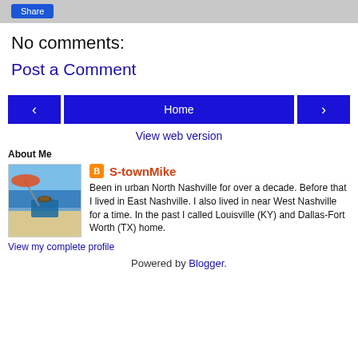Share
No comments:
Post a Comment
[Figure (screenshot): Navigation row with left arrow button, Home button, and right arrow button, all dark blue]
View web version
About Me
[Figure (photo): Person sitting in beach chair facing the ocean, wearing a hat, with colorful beach umbrella]
S-townMike
Been in urban North Nashville for over a decade. Before that I lived in East Nashville. I also lived in near West Nashville for a time. In the past I called Louisville (KY) and Dallas-Fort Worth (TX) home.
View my complete profile
Powered by Blogger.